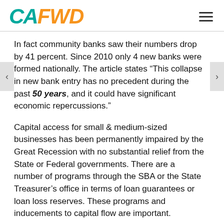CAFWD
In fact community banks saw their numbers drop by 41 percent. Since 2010 only 4 new banks were formed nationally. The article states “This collapse in new bank entry has no precedent during the past 50 years, and it could have significant economic repercussions.”
Capital access for small & medium-sized businesses has been permanently impaired by the Great Recession with no substantial relief from the State or Federal governments. There are a number of programs through the SBA or the State Treasurer’s office in terms of loan guarantees or loan loss reserves. These programs and inducements to capital flow are important.
But the problem is much deeper—the dwindling